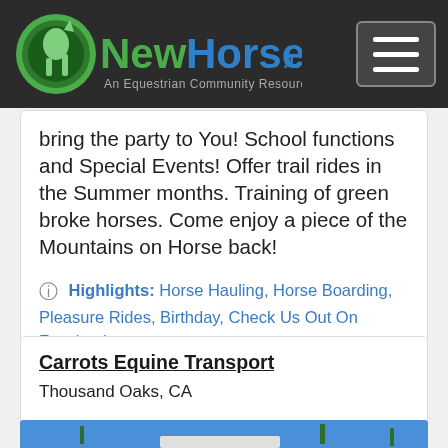NewHorse.com — An Equestrian Community Resource.
bring the party to You! School functions and Special Events! Offer trail rides in the Summer months. Training of green broke horses. Come enjoy a piece of the Mountains on Horse back!
Highlights: Horse Hauling, Horse Boarding, Pleasure Rides, Birthday, Check Us Out On Facebook
Carrots Equine Transport
Thousand Oaks, CA
[Figure (photo): A white horse trailer parked outdoors against a blue sky with cacti and desert vegetation in the background.]